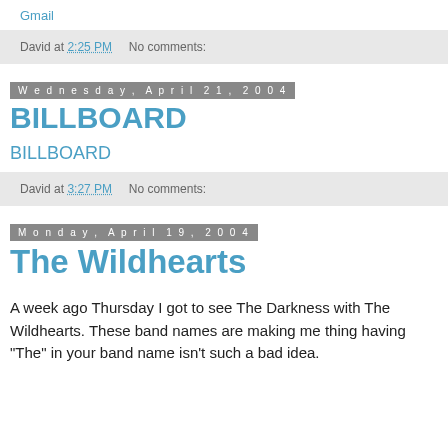Gmail
David at 2:25 PM   No comments:
Wednesday, April 21, 2004
BILLBOARD
BILLBOARD
David at 3:27 PM   No comments:
Monday, April 19, 2004
The Wildhearts
A week ago Thursday I got to see The Darkness with The Wildhearts. These band names are making me thing having "The" in your band name isn't such a bad idea.